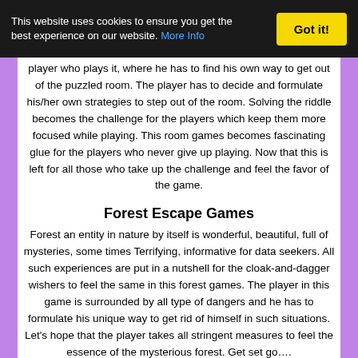This website uses cookies to ensure you get the best experience on our website. More Info | Got it!
player who plays it, where he has to find his own way to get out of the puzzled room. The player has to decide and formulate his/her own strategies to step out of the room. Solving the riddle becomes the challenge for the players which keep them more focused while playing. This room games becomes fascinating glue for the players who never give up playing. Now that this is left for all those who take up the challenge and feel the favor of the game.
Forest Escape Games
Forest an entity in nature by itself is wonderful, beautiful, full of mysteries, some times Terrifying, informative for data seekers. All such experiences are put in a nutshell for the cloak-and-dagger wishers to feel the same in this forest games. The player in this game is surrounded by all type of dangers and he has to formulate his unique way to get rid of himself in such situations. Let's hope that the player takes all stringent measures to feel the essence of the mysterious forest. Get set go….